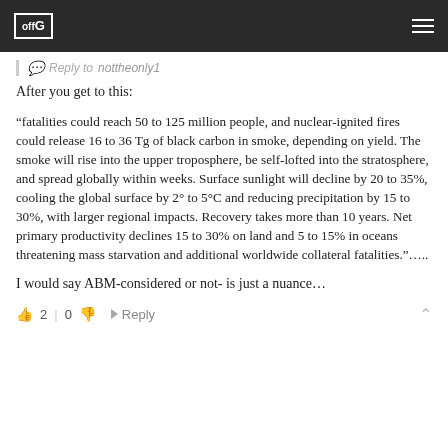offG [logo/header bar]
Reply to nottheonly1
After you get to this:
“fatalities could reach 50 to 125 million people, and nuclear-ignited fires could release 16 to 36 Tg of black carbon in smoke, depending on yield. The smoke will rise into the upper troposphere, be self-lofted into the stratosphere, and spread globally within weeks. Surface sunlight will decline by 20 to 35%, cooling the global surface by 2° to 5°C and reducing precipitation by 15 to 30%, with larger regional impacts. Recovery takes more than 10 years. Net primary productivity declines 15 to 30% on land and 5 to 15% in oceans threatening mass starvation and additional worldwide collateral fatalities.”…..
I would say ABM-considered or not- is just a nuance…
2 | 0  Reply